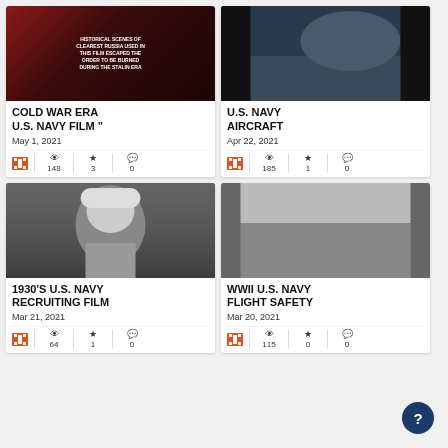[Figure (screenshot): Thumbnail for Cold War Era U.S. Navy Film — dark red/black background with white text overlay]
COLD WAR ERA U.S. NAVY FILM "
May 1, 2021
148 views, 3 favorites, 0 comments
[Figure (screenshot): Thumbnail for U.S. Navy Aircraft — airfield scene with aircraft and crew]
U.S. NAVY AIRCRAFT
Apr 22, 2021
185 views, 1 favorite, 0 comments
[Figure (screenshot): Thumbnail for 1930s U.S. Navy Recruiting Film — black and white, sailor looking upward]
1930's U.S. NAVY RECRUITING FILM
Mar 21, 2021
64 views, 1 favorite, 0 comments
[Figure (screenshot): Thumbnail for WWII U.S. Navy Flight Safety — black and white scene with crowd]
WWII U.S. NAVY FLIGHT SAFETY
Mar 20, 2021
115 views, 0 favorites, 0 comments